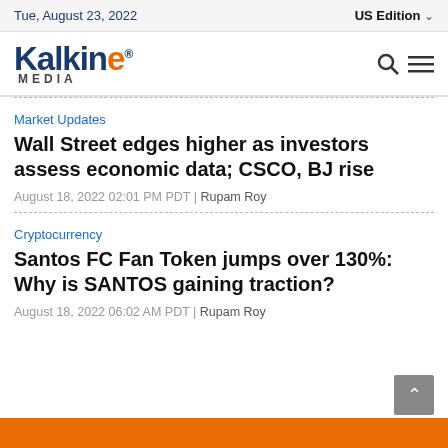Tue, August 23, 2022 | US Edition
[Figure (logo): Kalkine Media logo with orange E and blue text]
Market Updates
Wall Street edges higher as investors assess economic data; CSCO, BJ rise
August 18, 2022 02:01 PM PDT | Rupam Roy
Cryptocurrency
Santos FC Fan Token jumps over 130%: Why is SANTOS gaining traction?
August 18, 2022 06:02 AM PDT | Rupam Roy